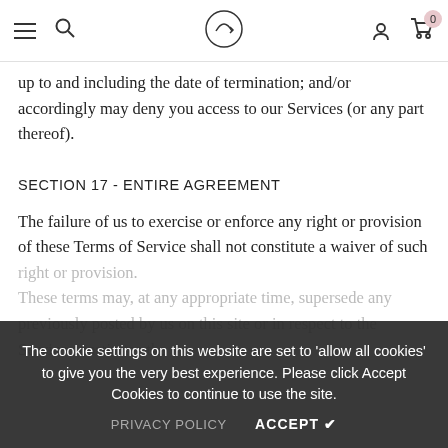Navigation bar with hamburger menu, search, logo, user icon, and cart (0 items)
up to and including the date of termination; and/or accordingly may deny you access to our Services (or any part thereof).
SECTION 17 - ENTIRE AGREEMENT
The failure of us to exercise or enforce any right or provision of these Terms of Service shall not constitute a waiver of such right or provision. These Terms of Service and any policies or operating rules posted by us on this site or in respect to the Service constitutes the entire agreement and understanding
The cookie settings on this website are set to 'allow all cookies' to give you the very best experience. Please click Accept Cookies to continue to use the site.
PRIVACY POLICY   ACCEPT ✔